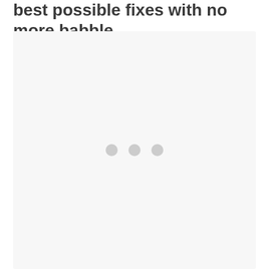best possible fixes with no more babble.
[Figure (screenshot): A light gray rounded rectangle box with three gray loading dots centered in it, representing a loading or placeholder UI state.]